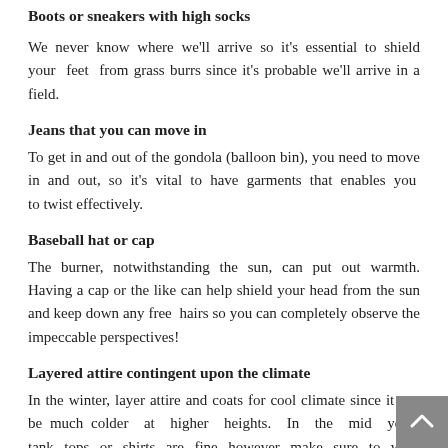Boots or sneakers with high socks
We never know where we'll arrive so it's essential to shield your feet from grass burrs since it's probable we'll arrive in a field.
Jeans that you can move in
To get in and out of the gondola (balloon bin), you need to move in and out, so it's vital to have garments that enables you to twist effectively.
Baseball hat or cap
The burner, notwithstanding the sun, can put out warmth. Having a cap or the like can help shield your head from the sun and keep down any free hairs so you can completely observe the impeccable perspectives!
Layered attire contingent upon the climate
In the winter, layer attire and coats for cool climate since it can be much colder at higher heights. In the mid year, tank tops or shirts are fine however make sure to wear sunscreen!